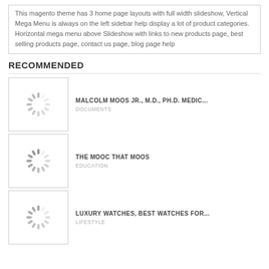This magento theme has 3 home page layouts with full width slideshow, Vertical Mega Menu is always on the left sidebar help display a lot of product categories. Horizontal mega menu above Slideshow with links to new products page, best selling products page, contact us page, blog page help
RECOMMENDED
[Figure (illustration): Loading spinner thumbnail for Malcolm Moos Jr. item]
MALCOLM MOOS JR., M.D., PH.D. MEDIC...
DOCUMENTS
[Figure (illustration): Loading spinner thumbnail for The MOOC That Moos item]
THE MOOC THAT MOOS
EDUCATION
[Figure (illustration): Loading spinner thumbnail for Luxury Watches item]
LUXURY WATCHES, BEST WATCHES FOR...
LIFESTYLE